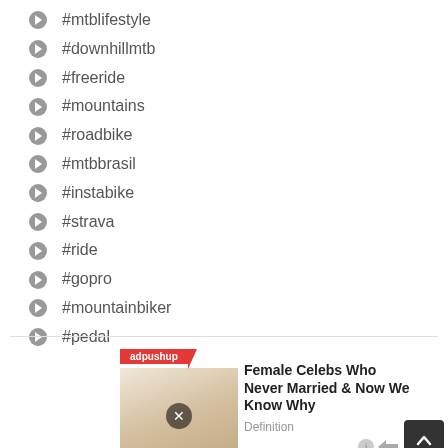#mtblifestyle
#downhillmtb
#freeride
#mountains
#roadbike
#mtbbrasil
#instabike
#strava
#ride
#gopro
#mountainbiker
#pedal
[Figure (infographic): Ad banner with adpushup branding, image of female celebrity, title 'Female Celebs Who Never Married & Now We Know Why', source 'Definition', marked as Sponsored]